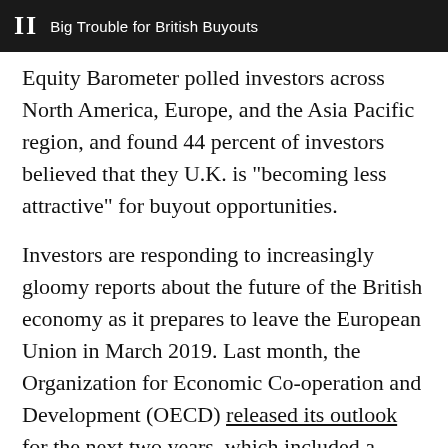II  Big Trouble for British Buyouts
Equity Barometer polled investors across North America, Europe, and the Asia Pacific region, and found 44 percent of investors believed that they U.K. is “becoming less attractive” for buyout opportunities.
Investors are responding to increasingly gloomy reports about the future of the British economy as it prepares to leave the European Union in March 2019. Last month, the Organization for Economic Co-operation and Development (OECD) released its outlook for the next two years, which included a warning that the U.K. economy would likely weaken as inflation begins to bite and businesses cut back on recruitment.
[Figure (other): Social sharing icons: Facebook (f), Twitter (bird), and plus (+) buttons in grey circles]